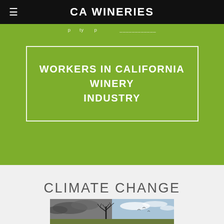CA WINERIES
WORKERS IN CALIFORNIA WINERY INDUSTRY
CLIMATE CHANGE
[Figure (photo): A bare, dead tree silhouetted against a dramatic sky with clouds and open landscape, conveying climate change themes]